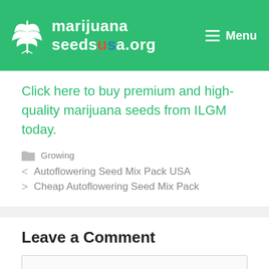marijuanaseedsusa.org — Menu
Click here to buy premium and high-quality marijuana seeds from ILGM today.
Growing
< Autoflowering Seed Mix Pack USA
> Cheap Autoflowering Seed Mix Pack
Leave a Comment